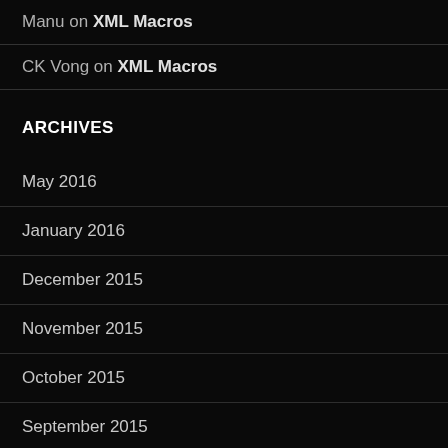Manu on XML Macros
CK Vong on XML Macros
ARCHIVES
May 2016
January 2016
December 2015
November 2015
October 2015
September 2015
August 2015
July 2015